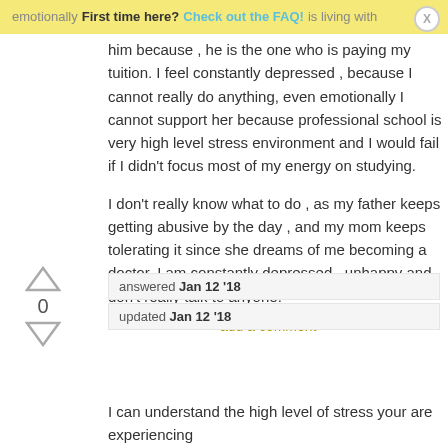First time here? Check out the FAQ!
him because , he is the one who is paying my tuition. I feel constantly depressed , because I cannot really do anything, even emotionally I cannot support her because professional school is very high level stress environment and I would fail if I didn't focus most of my energy on studying.

I don't really know what to do , as my father keeps getting abusive by the day , and my mom keeps tolerating it since she dreams of me becoming a doctor. I am constantly depressed , unhappy and don't really talk to anyone.
add a comment
answered Jan 12 '18
updated Jan 12 '18
I can understand the high level of stress your are experiencing